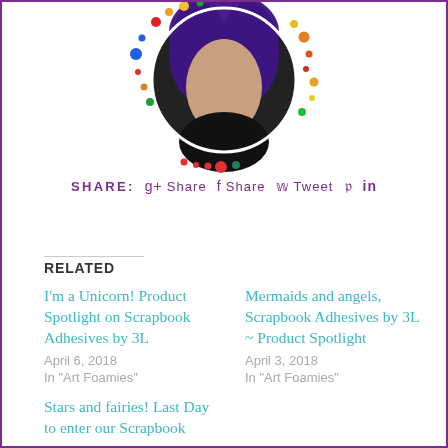[Figure (photo): Circular portrait photo of a woman with purple hair and colorful dot border decoration around the circle]
SHARE:  g+ Share  f Share  Tweet  Pinterest  in
RELATED
I'm a Unicorn! Product Spotlight on Scrapbook Adhesives by 3L
April 6, 2018
In "Art Foamies"
Mermaids and angels, Scrapbook Adhesives by 3L ~ Product Spotlight
April 3, 2018
In "Art Foamies"
Stars and fairies! Last Day to enter our Scrapbook